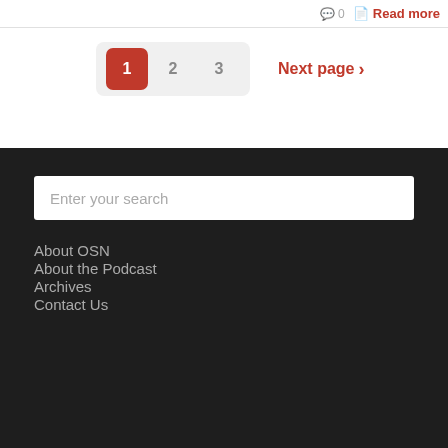0   Read more
1  2  3   Next page ›
Enter your search
About OSN
About the Podcast
Archives
Contact Us